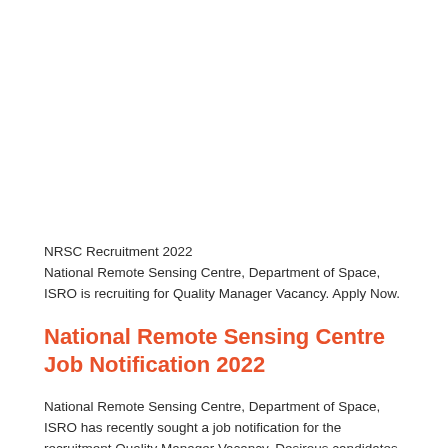NRSC Recruitment 2022
National Remote Sensing Centre, Department of Space, ISRO is recruiting for Quality Manager Vacancy. Apply Now.
National Remote Sensing Centre Job Notification 2022
National Remote Sensing Centre, Department of Space, ISRO has recently sought a job notification for the recruitment Quality Manager Vacancy. Desirous candidates